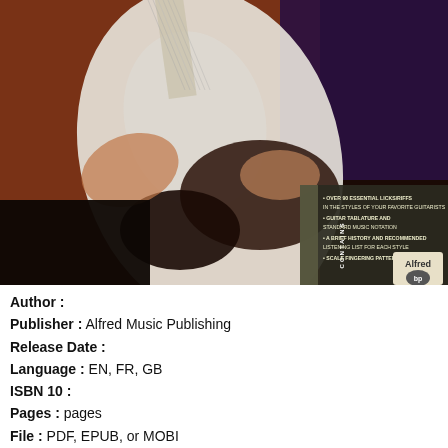[Figure (photo): Close-up photo of hands playing an electric guitar (white Stratocaster-style), with a dark background and a text overlay box on the right side reading: CONTAINS • OVER 90 ESSENTIAL LICKS/RIFFS IN THE STYLES OF YOUR FAVORITE GUITARISTS • GUITAR TABLATURE AND STANDARD MUSIC NOTATION • A BRIEF HISTORY AND RECOMMENDED LISTENING LIST FOR EACH STYLE • SCALE FINGERING PATTERNS, with an Alfred Music Publishing logo]
Author :
Publisher : Alfred Music Publishing
Release Date :
Language : EN, FR, GB
ISBN 10 :
Pages : pages
File : PDF, EPUB, or MOBI